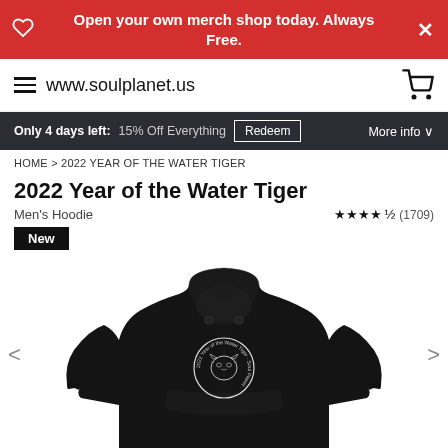Open your own merch shop today. Always Free.
www.soulplanet.us
Only 4 days left: 15% Off Everything  Redeem  More info
HOME > 2022 YEAR OF THE WATER TIGER
2022 Year of the Water Tiger
Men's Hoodie
★★★★½ (1709)
New
[Figure (photo): Black men's hoodie with a circular emblem design on the chest featuring a tiger and text '2022 Year of the Water Tiger']